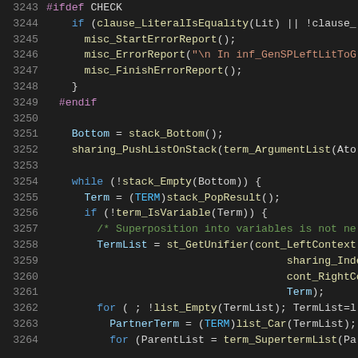[Figure (screenshot): Source code editor screenshot showing C code lines 3243-3264 with syntax highlighting on dark background. Line numbers in grey, keywords in blue/purple, function names in yellow, variables in light blue, strings in orange, comments in green, preprocessor directives in purple.]